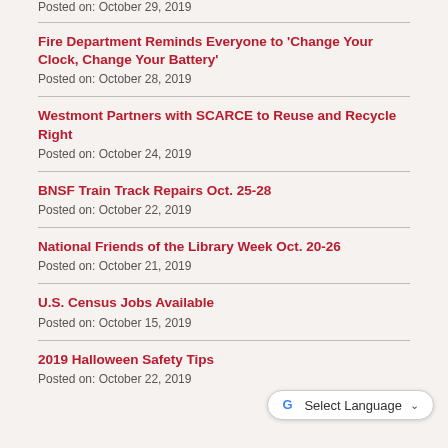Posted on: October 29, 2019
Fire Department Reminds Everyone to 'Change Your Clock, Change Your Battery'
Posted on: October 28, 2019
Westmont Partners with SCARCE to Reuse and Recycle Right
Posted on: October 24, 2019
BNSF Train Track Repairs Oct. 25-28
Posted on: October 22, 2019
National Friends of the Library Week Oct. 20-26
Posted on: October 21, 2019
U.S. Census Jobs Available
Posted on: October 15, 2019
2019 Halloween Safety Tips
Posted on: October 22, 2019